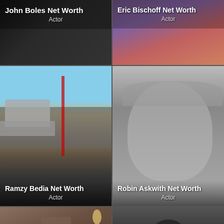[Figure (photo): John Boles Net Worth card with dark background, Actor label]
[Figure (photo): Eric Bischoff Net Worth card with colorful background, Actor label]
[Figure (photo): Ramzy Bedia Net Worth card showing man on motorcycle on a road, Actor label]
[Figure (photo): Robin Askwith Net Worth card showing smiling person with bangs in black and white photo, Actor label]
[Figure (photo): Bottom left card showing man in interior scene]
[Figure (photo): Bottom right card showing dark outdoor scene with scroll-to-top arrow]